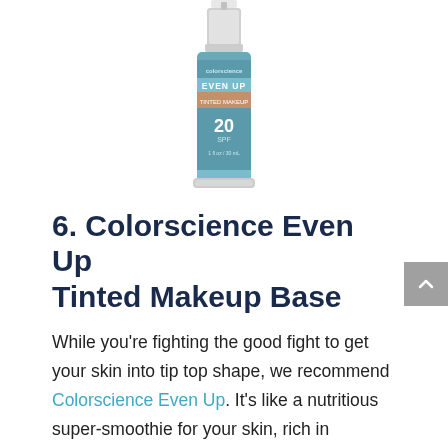[Figure (photo): Product photo of Colorscience Even Up Tinted Makeup Base bottle with pump dispenser, silver and teal packaging with SPF 20 label]
6. Colorscience Even Up Tinted Makeup Base
While you're fighting the good fight to get your skin into tip top shape, we recommend Colorscience Even Up. It's like a nutritious super-smoothie for your skin, rich in vitamins, antioxidants and mineral-based sunscreens. Key ingredients include built-in